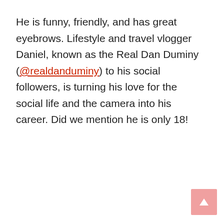He is funny, friendly, and has great eyebrows. Lifestyle and travel vlogger Daniel, known as the Real Dan Duminy (@realdanduminy) to his social followers, is turning his love for the social life and the camera into his career. Did we mention he is only 18!